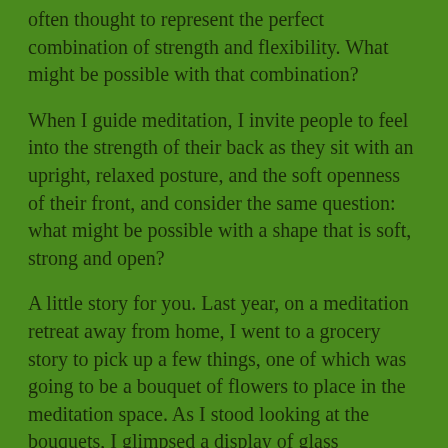often thought to represent the perfect combination of strength and flexibility. What might be possible with that combination?
When I guide meditation, I invite people to feel into the strength of their back as they sit with an upright, relaxed posture, and the soft openness of their front, and consider the same question: what might be possible with a shape that is soft, strong and open?
A little story for you. Last year, on a meditation retreat away from home, I went to a grocery story to pick up a few things, one of which was going to be a bouquet of flowers to place in the meditation space. As I stood looking at the bouquets, I glimpsed a display of glass containers each with two or three bamboo stalks that stood about 3-4" high. I've long been inspired by that perfect